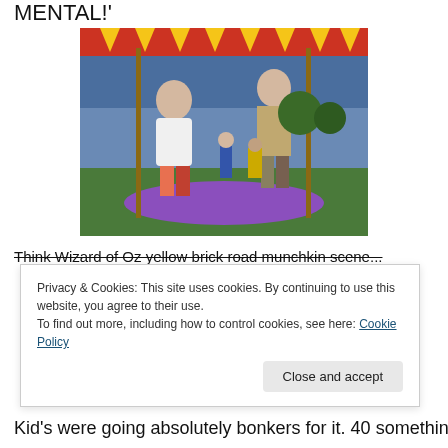MENTAL!'
[Figure (photo): Two young children dancing or playing on a purple mat at an outdoor festival. A red and yellow bunting banner is visible in the background along with tents and trees in the evening light.]
Think Wizard of Oz yellow brick road munchkin scene...
Privacy & Cookies: This site uses cookies. By continuing to use this website, you agree to their use.
To find out more, including how to control cookies, see here: Cookie Policy
Kid's were going absolutely bonkers for it. 40 something